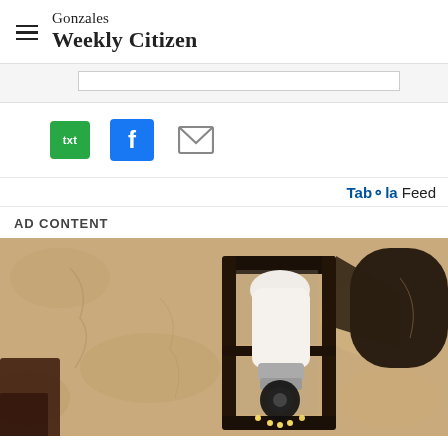Gonzales Weekly Citizen
[Figure (screenshot): Search bar input box on light gray background]
[Figure (infographic): Social share buttons: txt (green), Facebook (blue f), email (envelope icon)]
Taboola Feed
AD CONTENT
[Figure (photo): Close-up photo of a black metal outdoor lantern wall sconce with a white spiral light bulb or camera bulb mounted on a stucco/textured stone wall, warm sepia/tan tones]